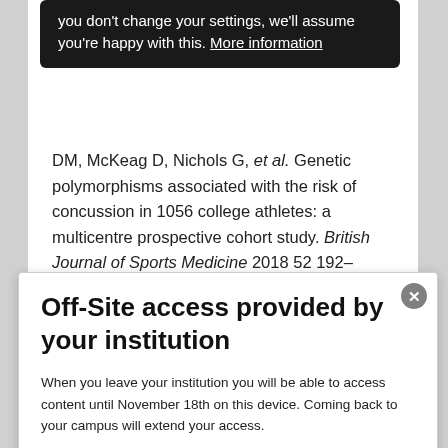you don't change your settings, we'll assume you're happy with this. More information
DM, McKeag D, Nichols G, et al. Genetic polymorphisms associated with the risk of concussion in 1056 college athletes: a multicentre prospective cohort study. British Journal of Sports Medicine 2018 52 192–198. (https://doi.org/10.1136/bjsports-
Off-Site access provided by your institution
When you leave your institution you will be able to access content until November 18th on this device. Coming back to your campus will extend your access.
Learn more about institution sponsored off-site access here